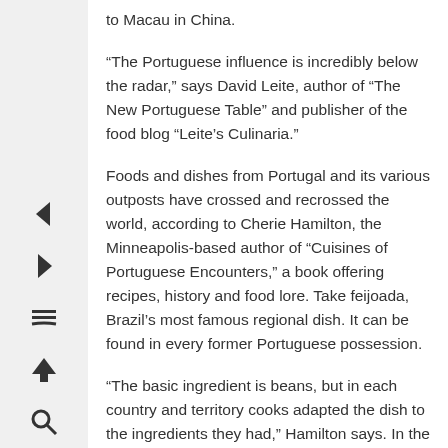to Macau in China.
“The Portuguese influence is incredibly below the radar,” says David Leite, author of “The New Portuguese Table” and publisher of the food blog “Leite’s Culinaria.”
Foods and dishes from Portugal and its various outposts have crossed and recrossed the world, according to Cherie Hamilton, the Minneapolis-based author of “Cuisines of Portuguese Encounters,” a book offering recipes, history and food lore. Take feijoada, Brazil’s most famous regional dish. It can be found in every former Portuguese possession.
“The basic ingredient is beans, but in each country and territory cooks adapted the dish to the ingredients they had,” Hamilton says. In the Cape Verde islands, off the coast of